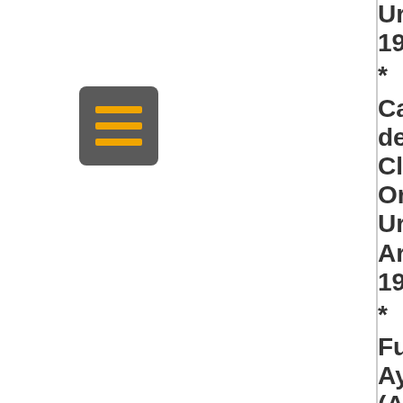[Figure (other): Hamburger menu icon: dark grey rounded square with three horizontal orange/yellow bars]
Urugua... 1988
* Cambio de Clima, Orfeo, Urugua... Argenti... 1989
* Fue Ayer (Antolo... Ayuí/Po... 1999
* El Gran Misterio... Ayuí, Urugua... 1999
* Espera... Salir (ensala... compos... de...